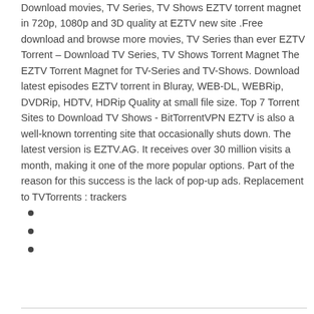Download movies, TV Series, TV Shows EZTV torrent magnet in 720p, 1080p and 3D quality at EZTV new site .Free download and browse more movies, TV Series than ever EZTV Torrent – Download TV Series, TV Shows Torrent Magnet The EZTV Torrent Magnet for TV-Series and TV-Shows. Download latest episodes EZTV torrent in Bluray, WEB-DL, WEBRip, DVDRip, HDTV, HDRip Quality at small file size. Top 7 Torrent Sites to Download TV Shows - BitTorrentVPN EZTV is also a well-known torrenting site that occasionally shuts down. The latest version is EZTV.AG. It receives over 30 million visits a month, making it one of the more popular options. Part of the reason for this success is the lack of pop-up ads. Replacement to TVTorrents : trackers